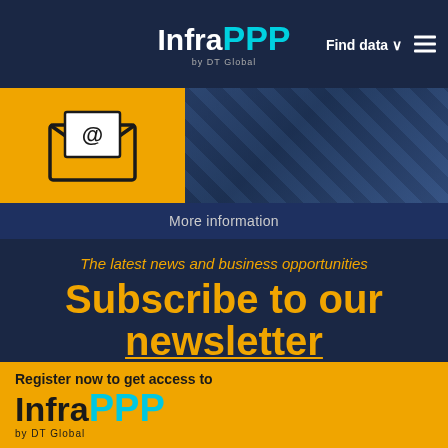[Figure (logo): InfraPPP by DT Global logo in white and cyan on dark navy background]
[Figure (illustration): Yellow box with email/envelope icon with @ symbol, beside a dark image panel]
Find data ∨
More information
The latest news and business opportunities
Subscribe to our newsletter
We use cookies to create the best possible browsing experience for InfraPPP website visitors. By clicking on
Register now to get access to
[Figure (logo): InfraPPP by DT Global logo in black and cyan on yellow background]